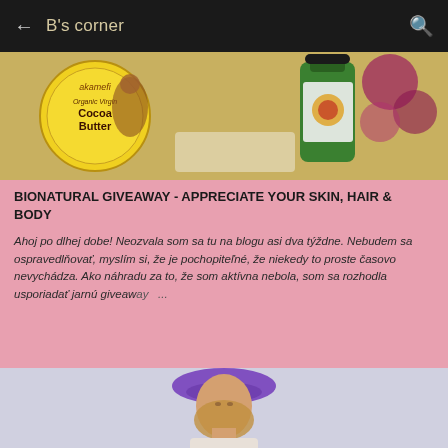B's corner
[Figure (photo): Photo of organic cocoa butter product (Akamefi brand, yellow circular tin) and a green bottle with a dark cap, with purple/pink flowers in background]
BIONATURAL GIVEAWAY - APPRECIATE YOUR SKIN, HAIR & BODY
Ahoj po dlhej dobe! Neozvala som sa tu na blogu asi dva týždne. Nebudem sa ospravedlňovať, myslím si, že je pochopiteľné, že niekedy to proste časovo nevychádza. Ako náhradu za to, že som aktívna nebola, som sa rozhodla usporiadať jarnú giveaway ...
[Figure (photo): Photo of a young woman wearing a purple beret hat, shown from mid-torso up against a light background]